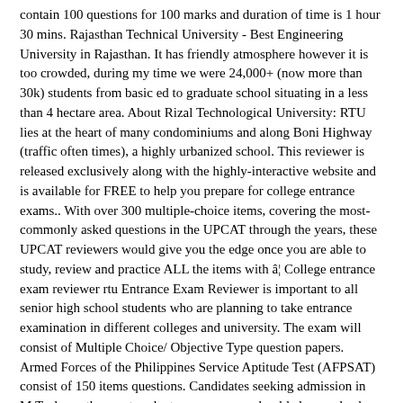contain 100 questions for 100 marks and duration of time is 1 hour 30 mins. Rajasthan Technical University - Best Engineering University in Rajasthan. It has friendly atmosphere however it is too crowded, during my time we were 24,000+ (now more than 30k) students from basic ed to graduate school situating in a less than 4 hectare area. About Rizal Technological University: RTU lies at the heart of many condominiums and along Boni Highway (traffic often times), a highly urbanized school. This reviewer is released exclusively along with the highly-interactive website and is available for FREE to help you prepare for college entrance exams.. With over 300 multiple-choice items, covering the most-commonly asked questions in the UPCAT through the years, these UPCAT reviewers would give you the edge once you are able to study, review and practice ALL the items with â¦ College entrance exam reviewer rtu Entrance Exam Reviewer is important to all senior high school students who are planning to take entrance examination in different colleges and university. The exam will consist of Multiple Choice/ Objective Type question papers. Armed Forces of the Philippines Service Aptitude Test (AFPSAT) consist of 150 items questions. Candidates seeking admission in M.Tech or other postgraduate programmes should always check the eligibility of RTU CAM 2020. UPCAT, ACET, DLSUCET, USTET, PSHS-NCE, other college entrance exams and science high school tests news and tips. ... Hit the books again for your second run of review if â¦ RTU DAT Syllabus 2020 PDF